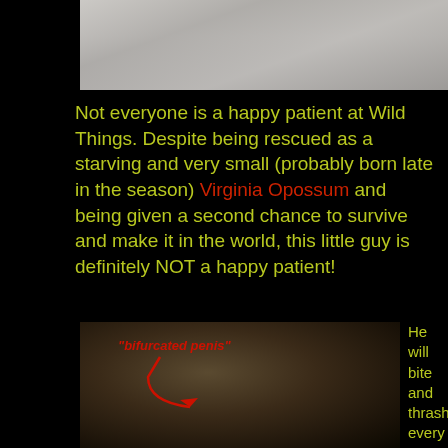[Figure (photo): Top portion of a photo showing what appears to be an animal, cropped at top of page]
Not everyone is a happy patient at Wild Things. Despite being rescued as a starving and very small (probably born late in the season) Virginia Opossum and being given a second chance to survive and make it in the world, this little guy is definitely NOT a happy patient!
[Figure (photo): Close-up photo of a Virginia Opossum with a red annotation arrow pointing to its anatomy labeled 'bifurcated penis']
He will bite and thrash every time I have to pick him up, and his favourite defence